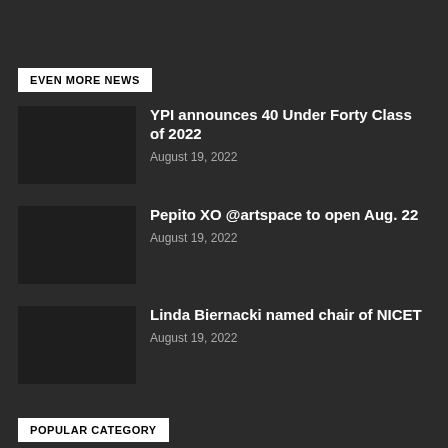EVEN MORE NEWS
YPI announces 40 Under Forty Class of 2022
August 19, 2022
Pepito XO @artspace to open Aug. 22
August 19, 2022
Linda Biernacki named chair of NICET
August 19, 2022
POPULAR CATEGORY